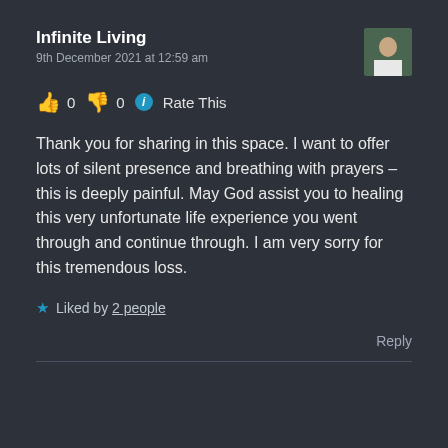Infinite Living
9th December 2021 at 12:59 am
👍 0 👎 0 ℹ Rate This
Thank you for sharing in this space. I want to offer lots of silent presence and breathing with prayers – this is deeply painful. May God assist you to healing this very unfortunate life experience you went through and continue through. I am very sorry for this tremendous loss.
★ Liked by 2 people
Reply